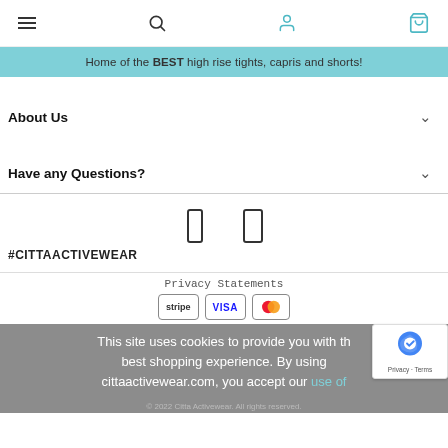Navigation bar with hamburger menu, search, user, and cart icons
Home of the BEST high rise tights, capris and shorts!
About Us
Have any Questions?
[Figure (other): Social media icons (Facebook and Instagram)]
#CITTAACTIVEWEAR
Privacy Statements
[Figure (other): Payment method badges: Stripe, Visa, Mastercard]
This site uses cookies to provide you with the best shopping experience. By using cittaactivewear.com, you accept our use of
© 2022 Citta Activewear. All rights reserved.